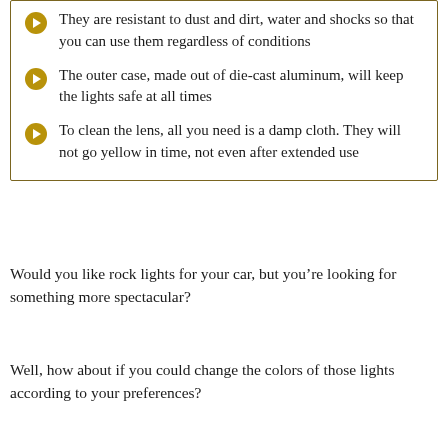They are resistant to dust and dirt, water and shocks so that you can use them regardless of conditions
The outer case, made out of die-cast aluminum, will keep the lights safe at all times
To clean the lens, all you need is a damp cloth. They will not go yellow in time, not even after extended use
Would you like rock lights for your car, but you’re looking for something more spectacular?
Well, how about if you could change the colors of those lights according to your preferences?